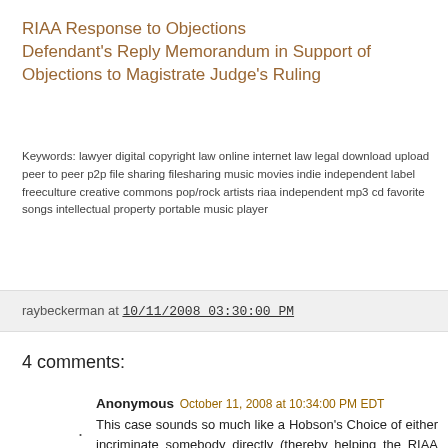RIAA Response to Objections
Defendant's Reply Memorandum in Support of Objections to Magistrate Judge's Ruling
Keywords: lawyer digital copyright law online internet law legal download upload peer to peer p2p file sharing filesharing music movies indie independent label freeculture creative commons pop/rock artists riaa independent mp3 cd favorite songs intellectual property portable music player
raybeckerman at 10/11/2008 03:30:00 PM
4 comments:
Anonymous October 11, 2008 at 10:34:00 PM EDT
This case sounds so much like a Hobson's Choice of either incriminate somebody directly (thereby helping the RIAA who has no evidence against any specific individual) from